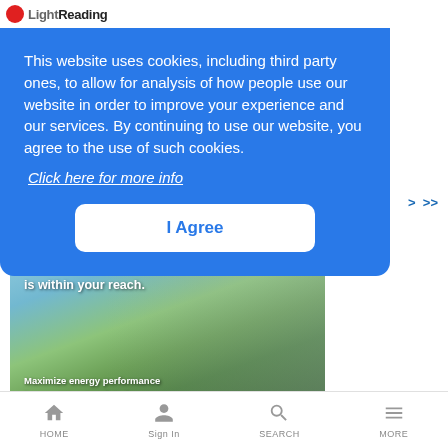Light Reading
This website uses cookies, including third party ones, to allow for analysis of how people use our website in order to improve your experience and our services. By continuing to use our website, you agree to the use of such cookies.
Click here for more info
I Agree
[Figure (photo): Advertisement photo showing a 5G cell tower against a rural landscape background, with text overlays: 'is within your reach.' and 'Maximize energy performance in your 5G network today.' with Ericsson logo.]
HOME  Sign In  SEARCH  MORE